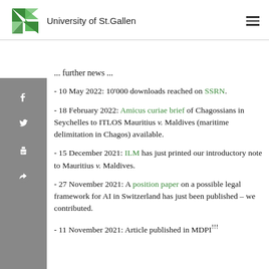University of St. Gallen
... further news ...
- 10 May 2022: 10'000 downloads reached on SSRN.
- 18 February 2022: Amicus curiae brief of Chagossians in Seychelles to ITLOS Mauritius v. Maldives (maritime delimitation in Chagos) available.
- 15 December 2021: ILM has just printed our introductory note to Mauritius v. Maldives.
- 27 November 2021: A position paper on a possible legal framework for AI in Switzerland has just been published – we contributed.
- 11 November 2021: Article published in MDPI...